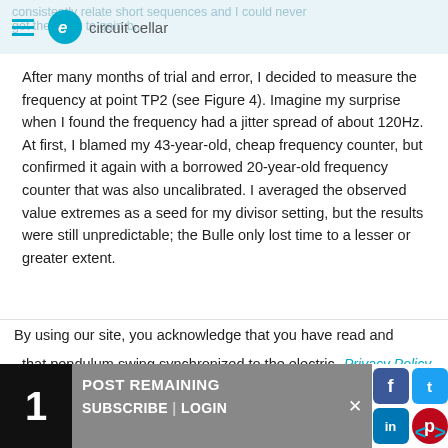circuit cellar
After many months of trial and error, I decided to measure the frequency at point TP2 (see Figure 4). Imagine my surprise when I found the frequency had a jitter spread of about 120Hz. At first, I blamed my 43-year-old, cheap frequency counter, but confirmed it again with a borrowed 20-year-old frequency counter that was also uncalibrated. I averaged the observed value extremes as a seed for my divisor setting, but the results were still unpredictable; the Bulle only lost time to a lesser or greater extent.
All through the development, I had never managed to prove that pendulum swing synchronized to the electric
By using our site, you acknowledge that you have read and
Privacy Policy.
1 POST REMAINING
SUBSCRIBE | LOGIN